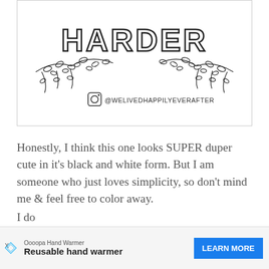[Figure (illustration): Coloring page illustration showing decorative hand-lettered text with floral/botanical leaf designs. Instagram handle @WELIVEDHAPPILYEVERAFTER shown at the bottom of the image inside a bordered frame.]
Honestly, I think this one looks SUPER duper cute in it's black and white form. But I am someone who just loves simplicity, so don't mind me & feel free to color away.
I do